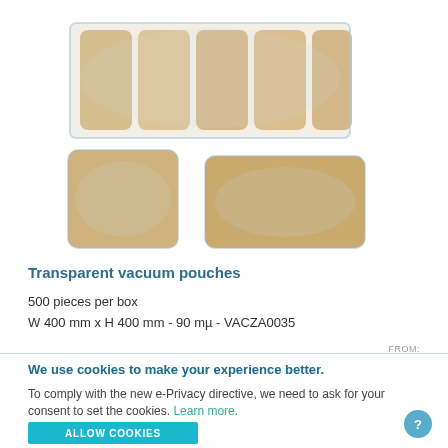[Figure (photo): Two vacuum-packed transparent pouches with food products. Top image shows a multi-pack of vacuum sealed pouches with light tan/beige food items arranged in rows. Bottom shows two individual vacuum pouches with similar food items.]
Transparent vacuum pouches
500 pieces per box
W 400 mm x H 400 mm - 90 mµ - VACZA0035
FROM:
We use cookies to make your experience better.
To comply with the new e-Privacy directive, we need to ask for your consent to set the cookies. Learn more.
ALLOW COOKIES